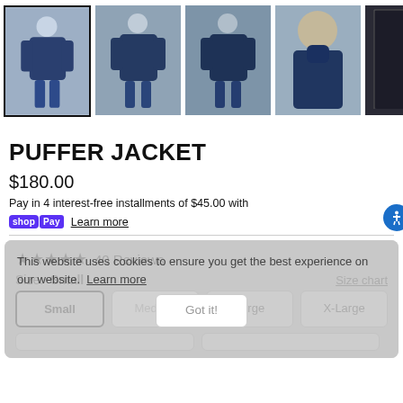[Figure (photo): Row of 5 product thumbnail images of a navy puffer jacket shown from different angles. The first thumbnail is selected (bold border). Views include: front with model, 3/4 front, back, close-up front collar, and interior lining.]
PUFFER JACKET
$180.00
Pay in 4 interest-free installments of $45.00 with shop Pay  Learn more
★★★★★  40 Reviews
Size:  Small    Size chart
Small  Medium  Large  X-Large
This website uses cookies to ensure you get the best experience on our website.  Learn more   Got it!